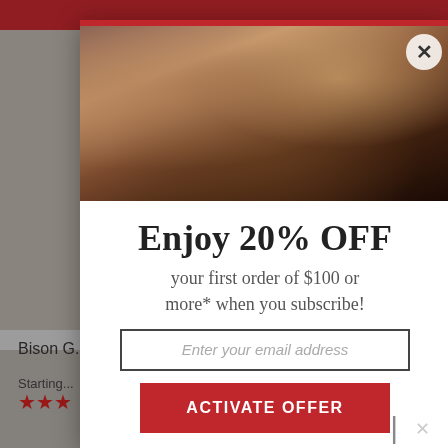[Figure (screenshot): Website screenshot showing a promotional modal popup over an e-commerce food/meat product page. The modal shows a brisket/BBQ meat photo at top, with promotional text 'Enjoy 20% OFF your first order of $100 or more* when you subscribe!' and an email subscription form with 'ACTIVATE OFFER' button. Background shows partial product images and navigation elements.]
Enjoy 20% OFF
your first order of $100 or more* when you subscribe!
Enter your email address
ACTIVATE OFFER